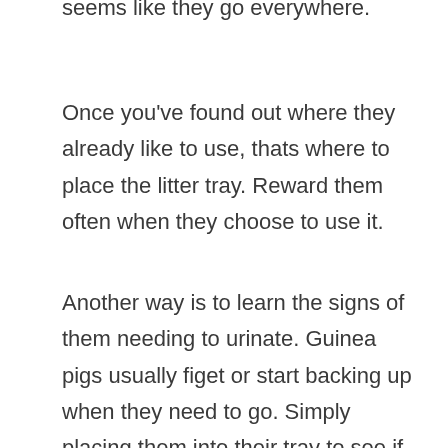seems like they go everywhere.
Once you've found out where they already like to use, thats where to place the litter tray. Reward them often when they choose to use it.
Another way is to learn the signs of them needing to urinate. Guinea pigs usually figet or start backing up when they need to go. Simply placing them into their tray to see if they go can work wonders. Give plenty of rewards!